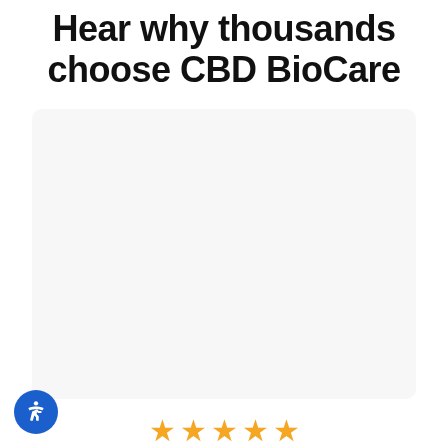Hear why thousands choose CBD BioCare
[Figure (other): Large light gray card/box serving as a review testimonial container, mostly blank/empty image area]
[Figure (other): Five yellow star rating icons displayed in a row]
The 3500mg oil and the pain relief products